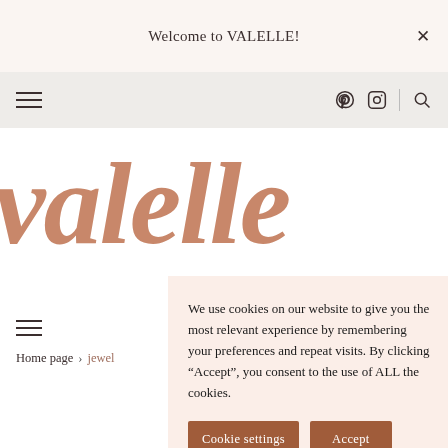Welcome to VALELLE!
[Figure (screenshot): Navigation bar with hamburger menu icon on the left and Pinterest, Instagram, and search icons on the right]
valelle
We use cookies on our website to give you the most relevant experience by remembering your preferences and repeat visits. By clicking “Accept”, you consent to the use of ALL the cookies.
Cookie settings
Accept
Home page > jewel